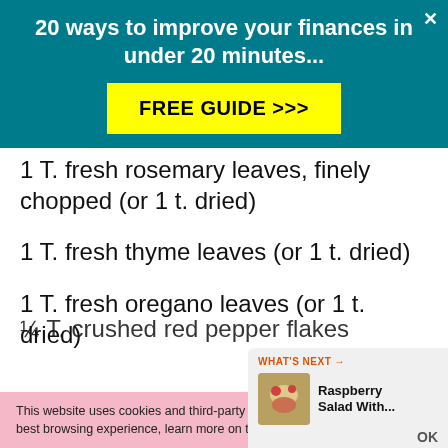[Figure (infographic): Teal advertisement banner: '20 ways to improve your finances in under 20 minutes...' with a yellow FREE GUIDE >>> button and an X close button]
1 T. fresh rosemary leaves, finely chopped (or 1 t. dried)
1 T. fresh thyme leaves (or 1 t. dried)
1 T. fresh oregano leaves (or 1 t. dried)
¼ T. crushed red pepper flakes
This website uses cookies and third-party services to provide you with the best browsing experience, learn more on the disclaimer page.
[Figure (infographic): What's Next panel: Raspberry Salad With... with thumbnail image and OK button]